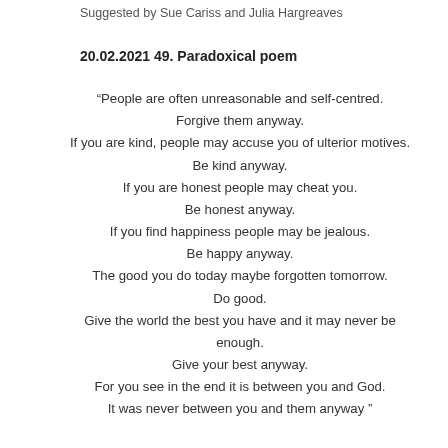Suggested by Sue Cariss and Julia Hargreaves
20.02.2021 49. Paradoxical poem
“People are often unreasonable and self-centred.
Forgive them anyway.
If you are kind, people may accuse you of ulterior motives.
Be kind anyway.
If you are honest people may cheat you.
Be honest anyway.
If you find happiness people may be jealous.
Be happy anyway.
The good you do today maybe forgotten tomorrow.
Do good.
Give the world the best you have and it may never be enough.
Give your best anyway.
For you see in the end it is between you and God.
It was never between you and them anyway ”